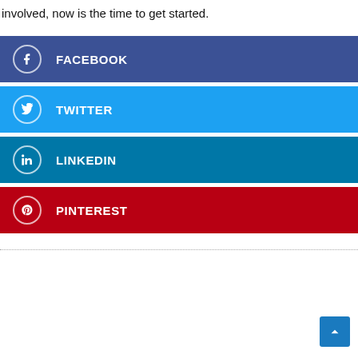involved, now is the time to get started.
FACEBOOK
TWITTER
LINKEDIN
PINTEREST